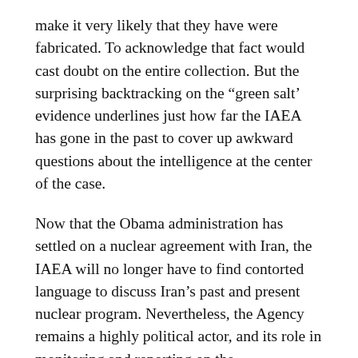make it very likely that they have were fabricated. To acknowledge that fact would cast doubt on the entire collection. But the surprising backtracking on the “green salt’ evidence underlines just how far the IAEA has gone in the past to cover up awkward questions about the intelligence at the center of the case.
Now that the Obama administration has settled on a nuclear agreement with Iran, the IAEA will no longer have to find contorted language to discuss Iran’s past and present nuclear program. Nevertheless, the Agency remains a highly political actor, and its role in monitoring and reporting on the implementation of the agreement may bring more occasions for official assessments that reflect the political interest of the U.S.-led dominant